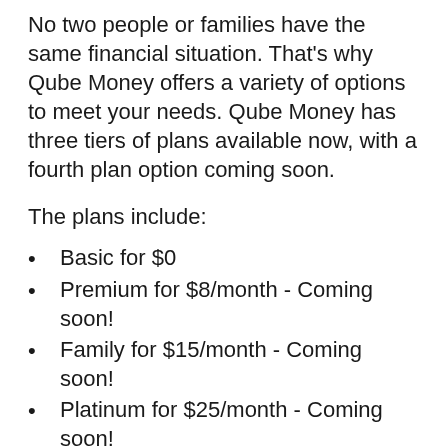No two people or families have the same financial situation. That's why Qube Money offers a variety of options to meet your needs. Qube Money has three tiers of plans available now, with a fourth plan option coming soon.
The plans include:
Basic for $0
Premium for $8/month - Coming soon!
Family for $15/month - Coming soon!
Platinum for $25/month - Coming soon!